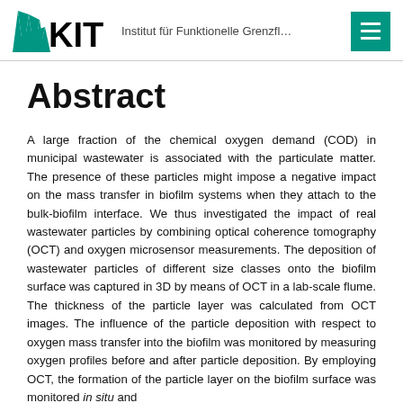KIT — Institut für Funktionelle Grenzfl…
Abstract
A large fraction of the chemical oxygen demand (COD) in municipal wastewater is associated with the particulate matter. The presence of these particles might impose a negative impact on the mass transfer in biofilm systems when they attach to the bulk-biofilm interface. We thus investigated the impact of real wastewater particles by combining optical coherence tomography (OCT) and oxygen microsensor measurements. The deposition of wastewater particles of different size classes onto the biofilm surface was captured in 3D by means of OCT in a lab-scale flume. The thickness of the particle layer was calculated from OCT images. The influence of the particle deposition with respect to oxygen mass transfer into the biofilm was monitored by measuring oxygen profiles before and after particle deposition. By employing OCT, the formation of the particle layer on the biofilm surface was monitored in situ and